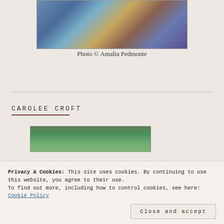[Figure (photo): A colorful photo showing blue and gold tones, partially visible at the top of the page]
Photo © Amalia Pedmonte
CAROLEE CROFT
[Figure (photo): A partial photo with green tones, partially visible]
Privacy & Cookies: This site uses cookies. By continuing to use this website, you agree to their use.
To find out more, including how to control cookies, see here: Cookie Policy
Close and accept